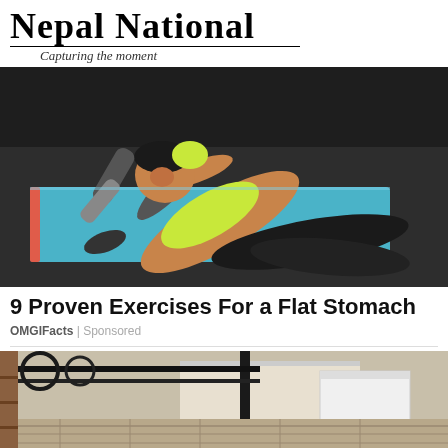Nepal National — Capturing the moment
[Figure (photo): Woman in yellow sports top and black leggings doing sit-ups on a blue yoga mat outdoors on asphalt]
9 Proven Exercises For a Flat Stomach
OMGIFacts | Sponsored
[Figure (photo): Outdoor patio or balcony area with metal railing and stone/brick flooring, partial view]